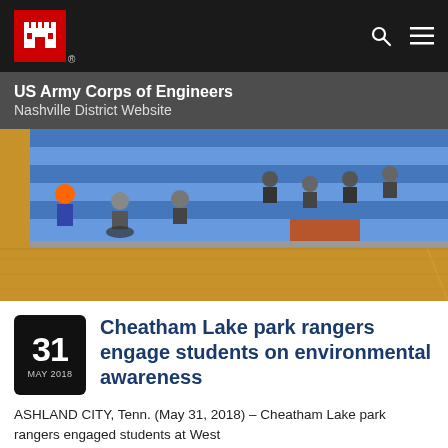US Army Corps of Engineers Nashville District Website
[Figure (photo): Students and a person in a wheelchair sitting on gymnasium bleachers with blue padding, on a wooden basketball court floor.]
Cheatham Lake park rangers engage students on environmental awareness
ASHLAND CITY, Tenn. (May 31, 2018) – Cheatham Lake park rangers engaged students at West